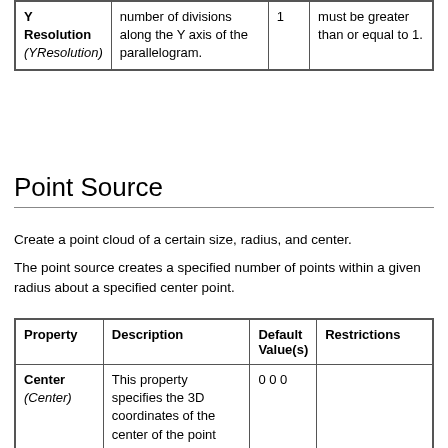| Property | Description | Default Value(s) | Restrictions |
| --- | --- | --- | --- |
| Y Resolution (YResolution) | number of divisions along the Y axis of the parallelogram. | 1 | must be greater than or equal to 1. |
Point Source
Create a point cloud of a certain size, radius, and center.
The point source creates a specified number of points within a given radius about a specified center point.
| Property | Description | Default Value(s) | Restrictions |
| --- | --- | --- | --- |
| Center (Center) | This property specifies the 3D coordinates of the center of the point cloud. | 0 0 0 |  |
| Number Of | This property specifies... |  | The value must be greater than... |